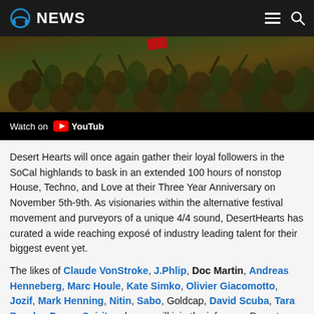NEWS
[Figure (screenshot): Video thumbnail showing a crowd at a festival event with a 'Watch on YouTube' bar at the bottom]
Desert Hearts will once again gather their loyal followers in the SoCal highlands to bask in an extended 100 hours of nonstop House, Techno, and Love at their Three Year Anniversary on November 5th-9th. As visionaries within the alternative festival movement and purveyors of a unique 4/4 sound, DesertHearts has curated a wide reaching exposé of industry leading talent for their biggest event yet.
The likes of Claude VonStroke, J.Phlip, Doc Martin, Andreas Henneberg, Marc Houle, Kate Simko, Olivier Giacomotto, Jozif, Mark Henning, Nitin, Sabo, Goldcap, David Scuba, Tara Brooks, Dance Spirit and more will join the infamous Desert Hearts Crew